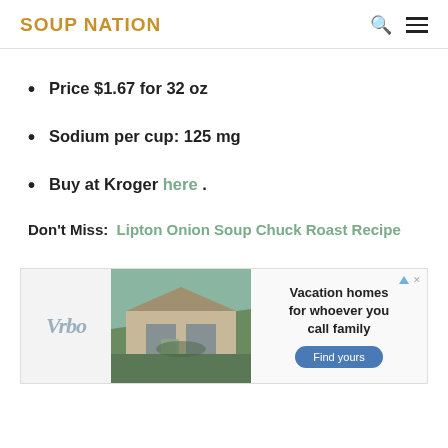SOUP NATION
Price $1.67 for 32 oz
Sodium per cup: 125 mg
Buy at Kroger here.
Don't Miss: Lipton Onion Soup Chuck Roast Recipe
[Figure (other): Vrbo advertisement banner showing a mountain vacation home with text 'Vacation homes for whoever you call family' and a 'Find yours' button]